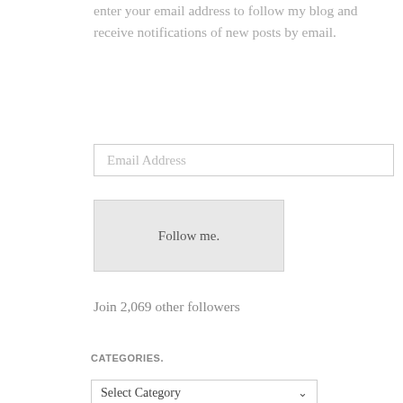enter your email address to follow my blog and receive notifications of new posts by email.
Email Address
Follow me.
Join 2,069 other followers
CATEGORIES.
Select Category
NETGALLEY.
[Figure (illustration): Four NetGalley badge icons: '50 Reviews' badge, '80%' badge, 'NetGalley Member Professional Reader' badge, and a book-shaped badge]